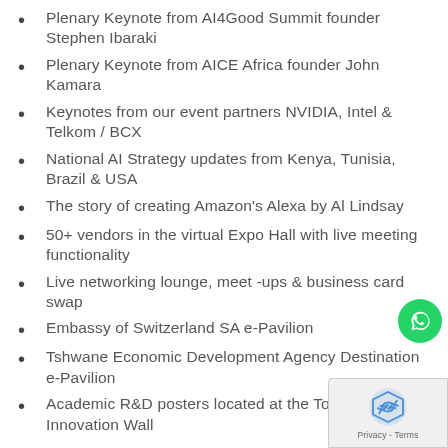Plenary Keynote from AI4Good Summit founder Stephen Ibaraki
Plenary Keynote from AICE Africa founder John Kamara
Keynotes from our event partners NVIDIA, Intel & Telkom / BCX
National AI Strategy updates from Kenya, Tunisia, Brazil & USA
The story of creating Amazon's Alexa by Al Lindsay
50+ vendors in the virtual Expo Hall with live meeting functionality
Live networking lounge, meet -ups & business card swap
Embassy of Switzerland SA e-Pavilion
Tshwane Economic Development Agency Destination e-Pavilion
Academic R&D posters located at the Tolkom Innovation Wall